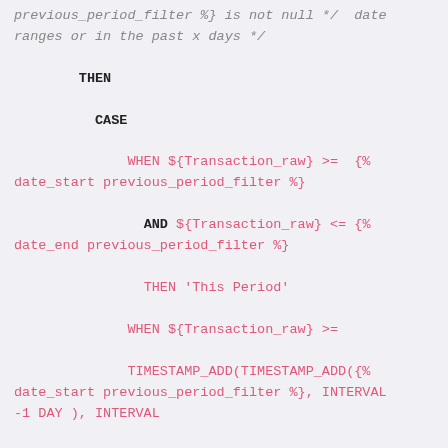SQL/template code block showing CASE WHEN logic with timestamp filtering for previous period